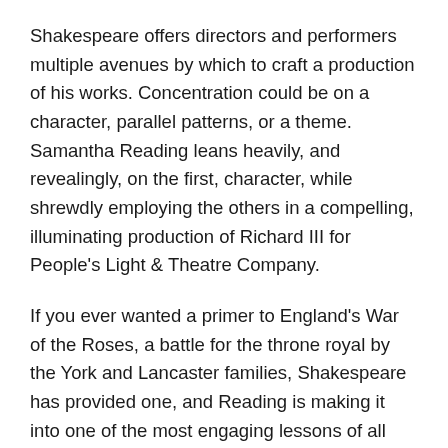Shakespeare offers directors and performers multiple avenues by which to craft a production of his works. Concentration could be on a character, parallel patterns, or a theme. Samantha Reading leans heavily, and revealingly, on the first, character, while shrewdly employing the others in a compelling, illuminating production of Richard III for People's Light & Theatre Company.
If you ever wanted a primer to England's War of the Roses, a battle for the throne royal by the York and Lancaster families, Shakespeare has provided one, and Reading is making it into one of the most engaging lessons of all time.
Richard is a member of a family. Within that family is a brother, Edward IV, who serves two stints as King, the first